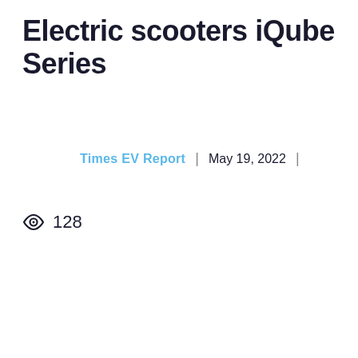Electric scooters iQube Series
Times EV Report | May 19, 2022 |
128